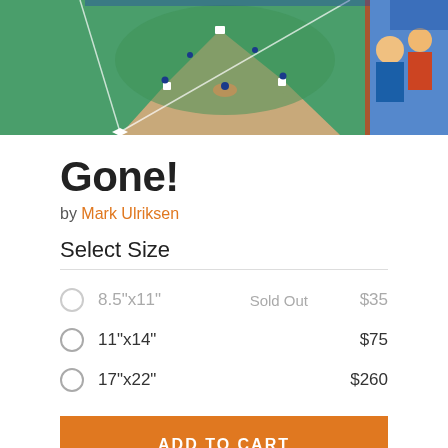[Figure (illustration): Aerial view of a baseball diamond/field with players, green grass, dirt infield. Right side shows fans and illustrated figures in stands.]
Gone!
by Mark Ulriksen
Select Size
8.5"x11"   Sold Out   $35
11"x14"   $75
17"x22"   $260
ADD TO CART
ADD TO WISHLIST